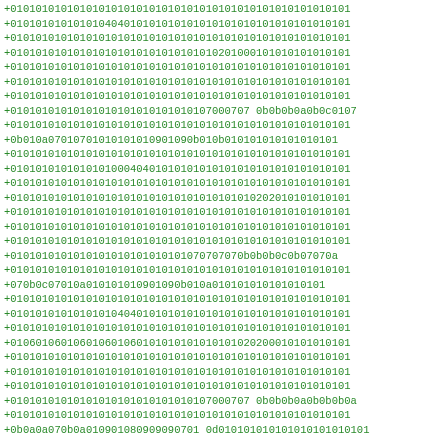+010101010101010101010101010101010101010101010101010101
+010101010101010404010101010101010101010101010101010101
+010101010101010101010101010101010101010101010101010101
+010101010101010101010101010101010201000101010101010101
+010101010101010101010101010101010101010101010101010101
+010101010101010101010101010101010101010101010101010101
+010101010101010101010101010101010101010101010101010101
+01010101010101010101010101010107000707 0b0b0b0a0b0c0107
+010101010101010101010101010101010101010101010101010101
+0b010a070107010101010101090 1090b010b010101010101010101
+010101010101010101010101010101010101010101010101010101
+010101010101010100040401010101010101010101010101010101
+010101010101010101010101010101010101010101010101010101
+010101010101010101010101010101010101010202010101010101
+010101010101010101010101010101010101010101010101010101
+010101010101010101010101010101010101010101010101010101
+010101010101010101010101010101010101010101010101010101
+0101010101010101010101010101070707070b0b0b0c0b07070a
+010101010101010101010101010101010101010101010101010101
+070b0c07010a0101010101090 1090b010a010101010101010101
+010101010101010101010101010101010101010101010101010101
+010101010101010104040101010101010101010101010101010101
+010101010101010101010101010101010101010101010101010101
+01060106010601060106010101010101010102020001010101010101
+010101010101010101010101010101010101010101010101010101
+010101010101010101010101010101010101010101010101010101
+010101010101010101010101010101010101010101010101010101
+01010101010101010101010101010107000707 0b0b0b0a0b0b0b0a
+010101010101010101010101010101010101010101010101010101
+0b0a0a070b0a0109010809090907010 d010101010101010101010101